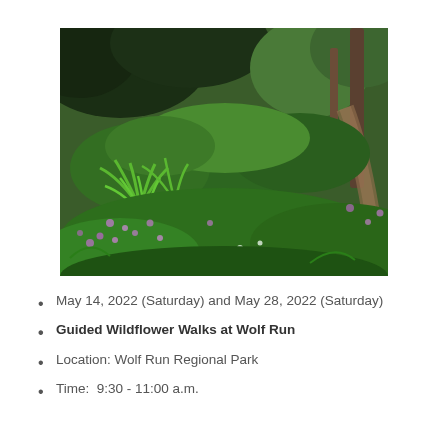[Figure (photo): A lush green forest garden path with ferns, wildflowers including small purple blooms, dense green shrubs, and trees in the background. A dirt trail curves through the greenery.]
May 14, 2022 (Saturday) and May 28, 2022 (Saturday)
Guided Wildflower Walks at Wolf Run
Location: Wolf Run Regional Park
Time:  9:30 - 11:00 a.m.